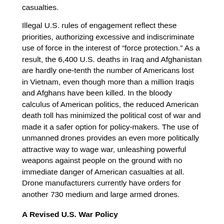casualties.
Illegal U.S. rules of engagement reflect these priorities, authorizing excessive and indiscriminate use of force in the interest of “force protection.” As a result, the 6,400 U.S. deaths in Iraq and Afghanistan are hardly one-tenth the number of Americans lost in Vietnam, even though more than a million Iraqis and Afghans have been killed. In the bloody calculus of American politics, the reduced American death toll has minimized the political cost of war and made it a safer option for policy-makers. The use of unmanned drones provides an even more politically attractive way to wage war, unleashing powerful weapons against people on the ground with no immediate danger of American casualties at all. Drone manufacturers currently have orders for another 730 medium and large armed drones.
A Revised U.S. War Policy
The U.S. “targeted killing” campaign and NATO’s campaign in Libya are two tracks of a revised U.S. war policy following its